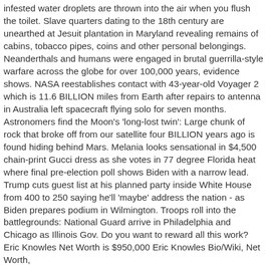infested water droplets are thrown into the air when you flush the toilet. Slave quarters dating to the 18th century are unearthed at Jesuit plantation in Maryland revealing remains of cabins, tobacco pipes, coins and other personal belongings. Neanderthals and humans were engaged in brutal guerrilla-style warfare across the globe for over 100,000 years, evidence shows. NASA reestablishes contact with 43-year-old Voyager 2 which is 11.6 BILLION miles from Earth after repairs to antenna in Australia left spacecraft flying solo for seven months. Astronomers find the Moon's 'long-lost twin': Large chunk of rock that broke off from our satellite four BILLION years ago is found hiding behind Mars. Melania looks sensational in $4,500 chain-print Gucci dress as she votes in 77 degree Florida heat where final pre-election poll shows Biden with a narrow lead. Trump cuts guest list at his planned party inside White House from 400 to 250 saying he'll 'maybe' address the nation - as Biden prepares podium in Wilmington. Troops roll into the battlegrounds: National Guard arrive in Philadelphia and Chicago as Illinois Gov. Do you want to reward all this work? Eric Knowles Net Worth is $950,000 Eric Knowles Bio/Wiki, Net Worth,